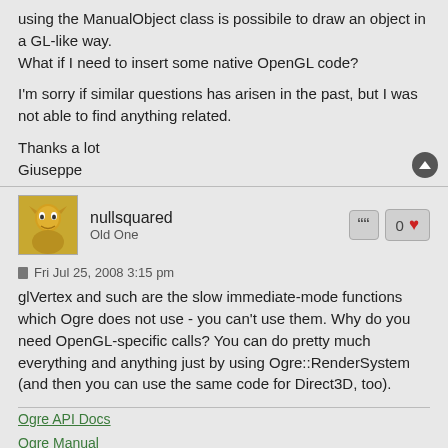using the ManualObject class is possibile to draw an object in a GL-like way.
What if I need to insert some native OpenGL code?

I'm sorry if similar questions has arisen in the past, but I was not able to find anything related.

Thanks a lot
Giuseppe
nullsquared
Old One
Fri Jul 25, 2008 3:15 pm
glVertex and such are the slow immediate-mode functions which Ogre does not use - you can't use them. Why do you need OpenGL-specific calls? You can do pretty much everything and anything just by using Ogre::RenderSystem (and then you can use the same code for Direct3D, too).
Ogre API Docs
Ogre Manual
http://www.portalized.org/